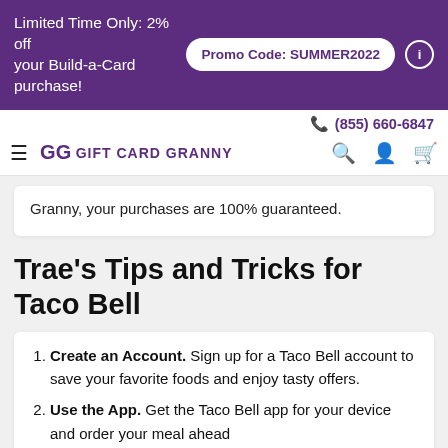Limited Time Only: 2% off your Build-a-Card purchase! Promo Code: SUMMER2022
(855) 660-6847 GG Gift Card Granny
Granny, your purchases are 100% guaranteed.
Trae's Tips and Tricks for Taco Bell
Create an Account. Sign up for a Taco Bell account to save your favorite foods and enjoy tasty offers.
Use the App. Get the Taco Bell app for your device and order your meal ahead